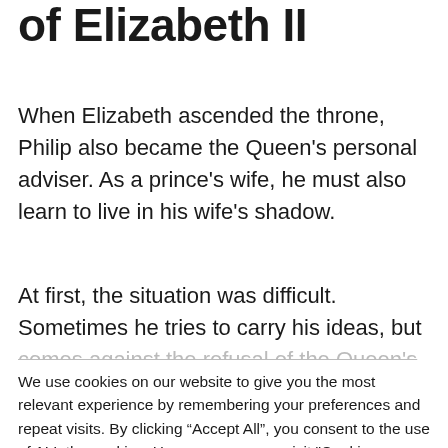of Elizabeth II
When Elizabeth ascended the throne, Philip also became the Queen’s personal adviser. As a prince’s wife, he must also learn to live in his wife’s shadow.
At first, the situation was difficult. Sometimes he tries to carry his ideas, but comes against the refusal of the Queen’s
We use cookies on our website to give you the most relevant experience by remembering your preferences and repeat visits. By clicking “Accept All”, you consent to the use of ALL the cookies. However, you may visit “Cookie Settings” to provide a controlled consent.